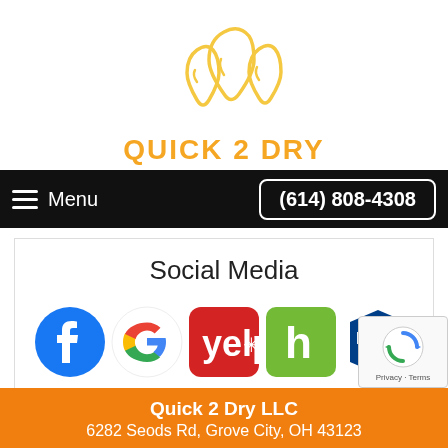[Figure (logo): Quick 2 Dry logo with three water drop outlines in yellow/orange and text QUICK 2 DRY in orange bold uppercase]
Menu   (614) 808-4308
Social Media
[Figure (infographic): Row of five social media icons: Facebook (blue circle with f), Google (colorful G), Yelp (red rounded square with yelp and asterisk), Houzz (green rounded square with H), BBB (blue shield with BBB text)]
[Figure (other): reCAPTCHA badge with spinning arrows icon and Privacy - Terms text]
Quick 2 Dry LLC
6282 Seods Rd, Grove City, OH 43123